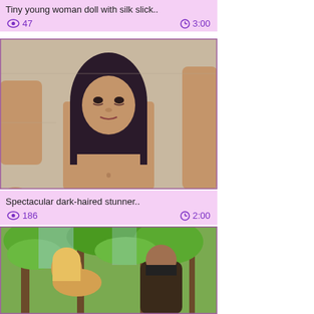Tiny young woman doll with silk slick..
👁 47   🕐 3:00
[Figure (photo): Thumbnail of dark-haired woman in silver bikini top surrounded by people]
Spectacular dark-haired stunner..
👁 186   🕐 2:00
[Figure (photo): Thumbnail of outdoor scene with blonde woman and man among trees]